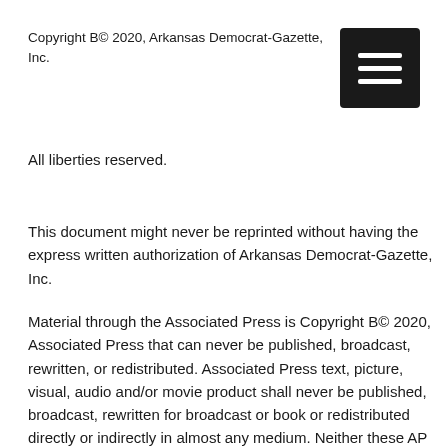Copyright B© 2020, Arkansas Democrat-Gazette, Inc.
All liberties reserved.
This document might never be reprinted without having the express written authorization of Arkansas Democrat-Gazette, Inc.
Material through the Associated Press is Copyright B© 2020, Associated Press that can never be published, broadcast, rewritten, or redistributed. Associated Press text, picture, visual, audio and/or movie product shall never be published, broadcast, rewritten for broadcast or book or redistributed directly or indirectly in almost any medium. Neither these AP materials nor any portion thereof could be stored in a pc aside from individual and noncommercial usage. The AP won't be held accountable for any delays, inaccuracies, mistakes or omissions therefrom or perhaps into the transmission or distribution of most or any component thereof or even for any